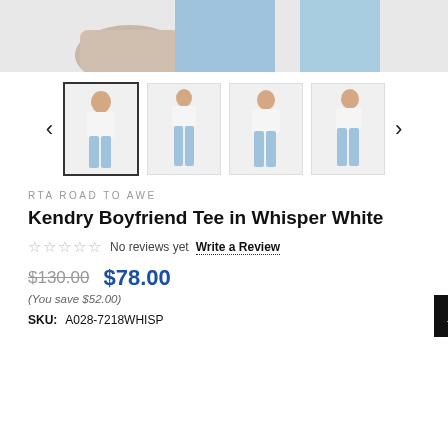[Figure (photo): Top portion of a product photo showing a model wearing a white t-shirt and light blue jeans, cropped at mid-torso level]
[Figure (photo): Thumbnail carousel showing 4 product photos of a white t-shirt with light blue jeans from different angles, with left and right navigation arrows]
RTA ROAD TO AWE
Kendry Boyfriend Tee in Whisper White
☆☆☆☆☆  No reviews yet  Write a Review
$130.00  $78.00
(You save $52.00)
SKU:  A028-7218WHISP